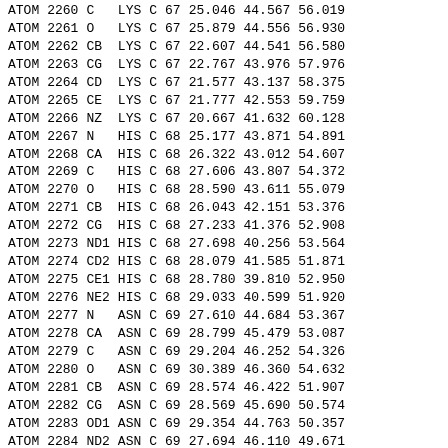| Record | Serial | Name | Res | Chain | Seq | X | Y | Z |
| --- | --- | --- | --- | --- | --- | --- | --- | --- |
| ATOM | 2260 | C | LYS | C | 67 | 25.046 | 44.567 | 56.019 |
| ATOM | 2261 | O | LYS | C | 67 | 25.879 | 44.556 | 56.930 |
| ATOM | 2262 | CB | LYS | C | 67 | 22.607 | 44.541 | 56.580 |
| ATOM | 2263 | CG | LYS | C | 67 | 22.767 | 43.976 | 57.976 |
| ATOM | 2264 | CD | LYS | C | 67 | 21.577 | 43.137 | 58.375 |
| ATOM | 2265 | CE | LYS | C | 67 | 21.777 | 42.553 | 59.759 |
| ATOM | 2266 | NZ | LYS | C | 67 | 20.667 | 41.632 | 60.128 |
| ATOM | 2267 | N | HIS | C | 68 | 25.177 | 43.871 | 54.891 |
| ATOM | 2268 | CA | HIS | C | 68 | 26.322 | 43.012 | 54.607 |
| ATOM | 2269 | C | HIS | C | 68 | 27.606 | 43.807 | 54.372 |
| ATOM | 2270 | O | HIS | C | 68 | 28.590 | 43.611 | 55.079 |
| ATOM | 2271 | CB | HIS | C | 68 | 26.043 | 42.151 | 53.376 |
| ATOM | 2272 | CG | HIS | C | 68 | 27.233 | 41.376 | 52.908 |
| ATOM | 2273 | ND1 | HIS | C | 68 | 27.698 | 40.256 | 53.564 |
| ATOM | 2274 | CD2 | HIS | C | 68 | 28.079 | 41.585 | 51.871 |
| ATOM | 2275 | CE1 | HIS | C | 68 | 28.780 | 39.810 | 52.950 |
| ATOM | 2276 | NE2 | HIS | C | 68 | 29.033 | 40.599 | 51.920 |
| ATOM | 2277 | N | ASN | C | 69 | 27.610 | 44.684 | 53.367 |
| ATOM | 2278 | CA | ASN | C | 69 | 28.799 | 45.479 | 53.087 |
| ATOM | 2279 | C | ASN | C | 69 | 29.204 | 46.252 | 54.326 |
| ATOM | 2280 | O | ASN | C | 69 | 30.389 | 46.360 | 54.632 |
| ATOM | 2281 | CB | ASN | C | 69 | 28.574 | 46.422 | 51.907 |
| ATOM | 2282 | CG | ASN | C | 69 | 28.569 | 45.690 | 50.574 |
| ATOM | 2283 | OD1 | ASN | C | 69 | 29.354 | 44.763 | 50.357 |
| ATOM | 2284 | ND2 | ASN | C | 69 | 27.694 | 46.110 | 49.671 |
| ATOM | 2285 | N | LEU | C | 70 | 28.237 | 46.816 | 55.040 |
| ATOM | 2286 | CA | LEU | C | 70 | 28.600 | 47.489 | 56.283 |
| ATOM | 2287 | C | LEU | C | 70 | 28.994 | 46.290 | 57.133 |
| ATOM | 2288 | O | LEU | C | 70 | 28.479 | 45.198 | 56.926 |
| ATOM | 2289 | CB | LEU | C | 70 | 27.409 | 48.205 | 56.937 |